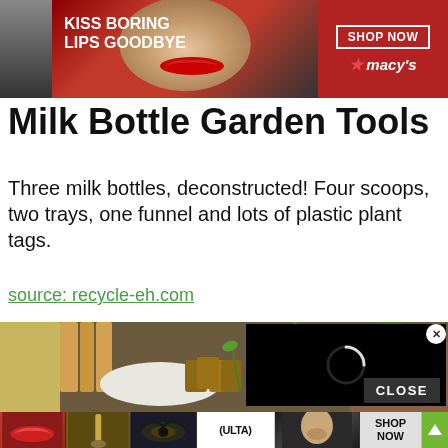[Figure (photo): Macy's advertisement banner: 'KISS BORING LIPS GOODBYE' with woman's face and red lips, SHOP NOW button, Macy's star logo on red background]
Milk Bottle Garden Tools
Three milk bottles, deconstructed! Four scoops, two trays, one funnel and lots of plastic plant tags.
source: recycle-eh.com
[Figure (photo): Garden tools made from milk bottles: seedling pots with small green plants, rolled cardboard tubes, trowels; with a black loading overlay showing a spinner circle and a CLOSE button; X close button in top right of overlay]
[Figure (photo): Bottom ad strip: beauty photos including red lipstick, makeup brush, eye makeup, ULTA beauty logo, model face; SHOP NOW button and green up-arrow navigation button]